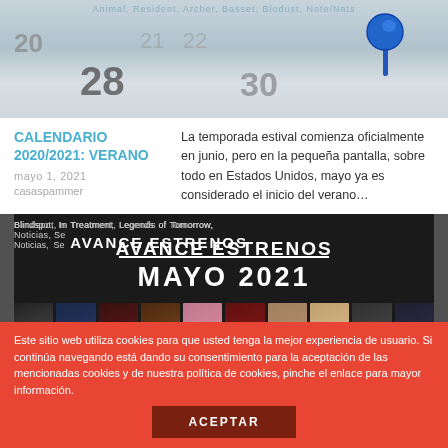[Figure (photo): Calendar page with a blue pushpin tack in the top right corner, showing dates 20, 21, 22, 28, 30]
CALENDARIO 2020/2021: VERANO
mayo 1, 2021
casaspammer
La temporada estival comienza oficialmente en junio, pero en la pequeña pantalla, sobre todo en Estados Unidos, mayo ya es considerado el inicio del verano…
[Figure (photo): Dark banner image with text tags: Blindspot, In Treatment, Legends of Tomorrow, Noticias, Se... and large centered text AVANCE ESTRENOS MAYO 2021 with movie poster thumbnails at the bottom]
ESTRENOS DE HBO ESPAÑA
A tan solo un día de que comience mayo, os dejamos con la nota de
Este sitio web utiliza cookies para que usted tenga la mejor experiencia de usuario. Si continúa navegando está dando su consentimiento para la aceptación de las mencionadas cookies y de nuestra política de cookies, pinche el enlace para mayor información.
ACEPTAR